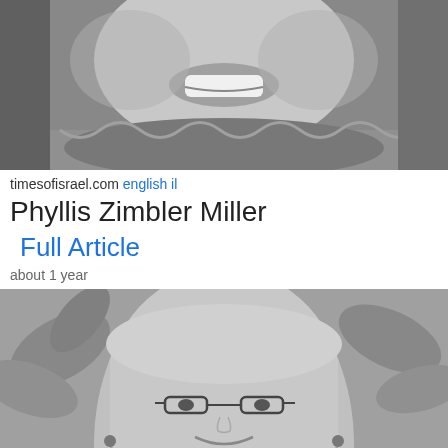[Figure (photo): Black and white close-up photo of a person smiling, wearing a patterned scarf, cropped at top of head]
timesofisrael.com english il
Phyllis Zimbler Miller
Full Article
about 1 year
[Figure (photo): Black and white photo of a woman with long hair and glasses, smiling, with plants in background]
timesofisrael.com english il
Phyllis Zimbler Miller